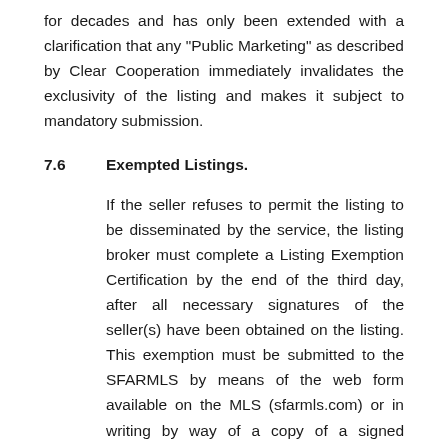for decades and has only been extended with a clarification that any "Public Marketing" as described by Clear Cooperation immediately invalidates the exclusivity of the listing and makes it subject to mandatory submission.
7.6       Exempted Listings.
If the seller refuses to permit the listing to be disseminated by the service, the listing broker must complete a Listing Exemption Certification by the end of the third day, after all necessary signatures of the seller(s) have been obtained on the listing. This exemption must be submitted to the SFARMLS by means of the web form available on the MLS (sfarmls.com) or in writing by way of a copy of a signed document submitted